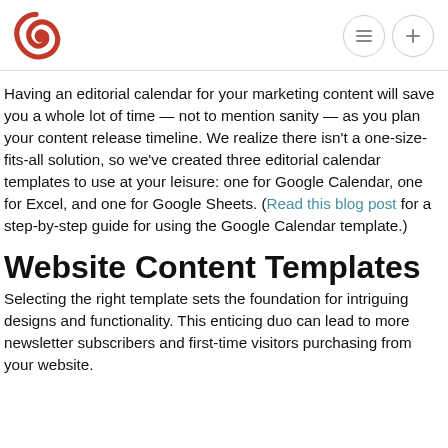[Logo and navigation icons]
Having an editorial calendar for your marketing content will save you a whole lot of time — not to mention sanity — as you plan your content release timeline. We realize there isn't a one-size-fits-all solution, so we've created three editorial calendar templates to use at your leisure: one for Google Calendar, one for Excel, and one for Google Sheets. (Read this blog post for a step-by-step guide for using the Google Calendar template.)
Website Content Templates
Selecting the right template sets the foundation for intriguing designs and functionality. This enticing duo can lead to more newsletter subscribers and first-time visitors purchasing from your website.